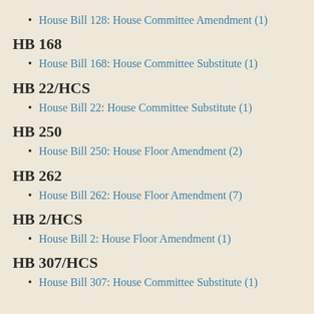House Bill 128: House Committee Amendment (1)
HB 168
House Bill 168: House Committee Substitute (1)
HB 22/HCS
House Bill 22: House Committee Substitute (1)
HB 250
House Bill 250: House Floor Amendment (2)
HB 262
House Bill 262: House Floor Amendment (7)
HB 2/HCS
House Bill 2: House Floor Amendment (1)
HB 307/HCS
House Bill 307: House Committee Substitute (1)